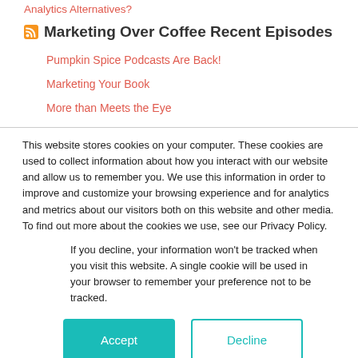Analytics Alternatives?
Marketing Over Coffee Recent Episodes
Pumpkin Spice Podcasts Are Back!
Marketing Your Book
More than Meets the Eye
This website stores cookies on your computer. These cookies are used to collect information about how you interact with our website and allow us to remember you. We use this information in order to improve and customize your browsing experience and for analytics and metrics about our visitors both on this website and other media. To find out more about the cookies we use, see our Privacy Policy.
If you decline, your information won’t be tracked when you visit this website. A single cookie will be used in your browser to remember your preference not to be tracked.
Accept
Decline